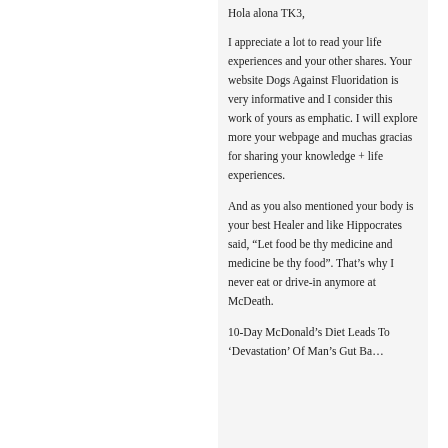Hola alona TK3,
I appreciate a lot to read your life experiences and your other shares. Your website Dogs Against Fluoridation is very informative and I consider this work of yours as emphatic. I will explore more your webpage and muchas gracias for sharing your knowledge + life experiences.
And as you also mentioned your body is your best Healer and like Hippocrates said, “Let food be thy medicine and medicine be thy food”. That’s why I never eat or drive-in anymore at McDeath.
10-Day McDonald’s Diet Leads To ‘Devastation’ Of Man’s Gut Bacteria